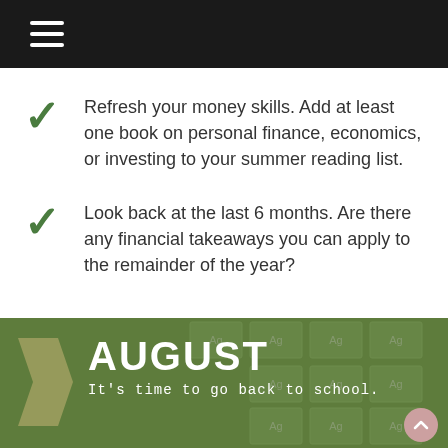Navigation menu header bar
Refresh your money skills. Add at least one book on personal finance, economics, or investing to your summer reading list.
Look back at the last 6 months. Are there any financial takeaways you can apply to the remainder of the year?
[Figure (infographic): Green banner with AUGUST heading and tagline 'It's time to go back to school.' with decorative grid background and arrow shape]